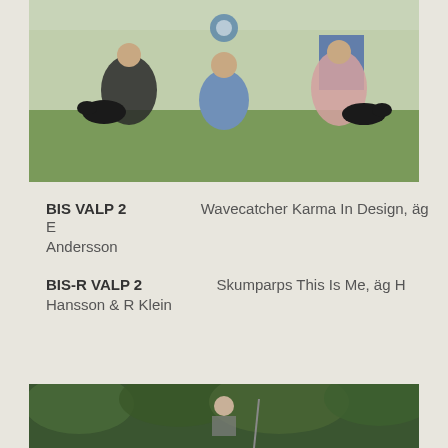[Figure (photo): Dog show competition photo showing handlers with black dogs on grass, with ribbons and awards visible in background. A man kneeling in the center, a woman on the left and another on the right.]
BIS VALP 2   Wavecatcher Karma In Design, äg E Andersson
BIS-R VALP 2   Skumparps This Is Me, äg H Hansson & R Klein
[Figure (photo): Outdoor dog show photo with green trees in background, partially visible at bottom of page.]